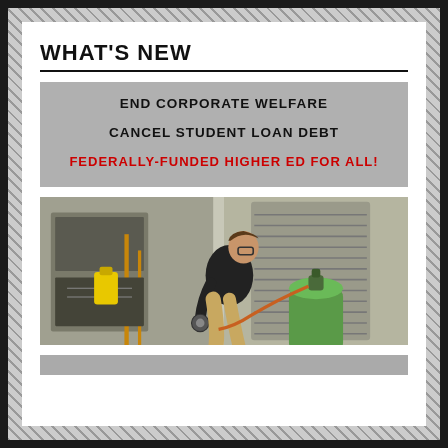WHAT'S NEW
[Figure (infographic): Gray banner with text: END CORPORATE WELFARE / CANCEL STUDENT LOAN DEBT / FEDERALLY-FUNDED HIGHER ED FOR ALL! (last line in red)]
[Figure (photo): Photo of an HVAC technician crouching and working on equipment, with a green refrigerant tank in the foreground]